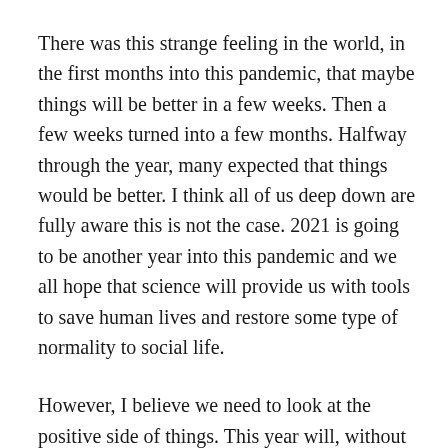There was this strange feeling in the world, in the first months into this pandemic, that maybe things will be better in a few weeks. Then a few weeks turned into a few months. Halfway through the year, many expected that things would be better. I think all of us deep down are fully aware this is not the case. 2021 is going to be another year into this pandemic and we all hope that science will provide us with tools to save human lives and restore some type of normality to social life.
However, I believe we need to look at the positive side of things. This year will, without a doubt, be another challenging year, yet there are fundamental differences that can allow us to be more optimistic. We know we are in the midst of a pandemic, and this is not an unexpected